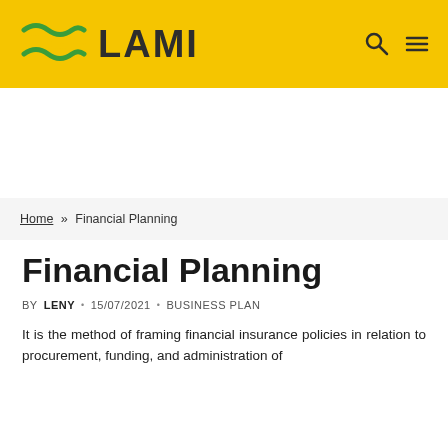[Figure (logo): LAMI logo with wave graphic on yellow header background, search icon and hamburger menu icon on the right]
Home » Financial Planning
Financial Planning
BY LENY · 15/07/2021 · BUSINESS PLAN
It is the method of framing financial insurance policies in relation to procurement, funding, and administration of